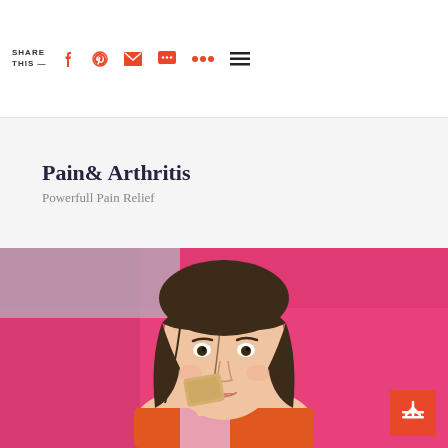SHARE THIS —
Pain& Arthritis
Powerfull Pain Relief
[Figure (photo): Young woman with dark hair and bangs holding a small beige/tan colored patch or card near her face, smiling slightly. She is wearing an orange and pink striped top, standing in front of a bright pink background.]